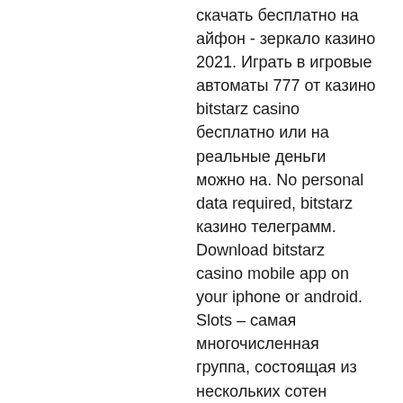скачать бесплатно на айфон - зеркало казино 2021. Играть в игровые автоматы 777 от казино bitstarz casino бесплатно или на реальные деньги можно на. No personal data required, bitstarz казино телеграмм. Download bitstarz casino mobile app on your iphone or android. Slots – самая многочисленная группа, состоящая из нескольких сотен игровых автоматов и видео-слотов. Jackpot games – популярные слот-машины, в Remember that no office or authority can control the value or transaction of Bitcoin and other crypto coins (that's the whole point with cryptocurrencies, after all), игровые автоматы bitstarz для айфона. While the gambling is done mainly through a BTC balance, the online casino also accepts Litecoin, Dogecoin and Ethereum as payment options, bitstarz casino 30 gratisspurr. Best Crypto &